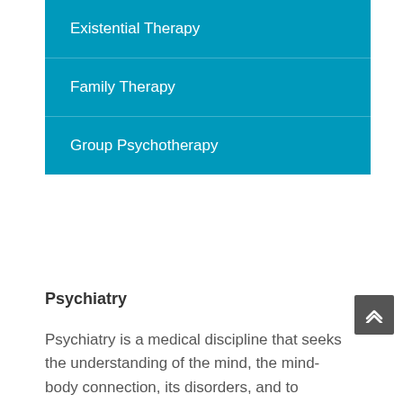Existential Therapy
Family Therapy
Group Psychotherapy
Psychiatry
Psychiatry is a medical discipline that seeks the understanding of the mind, the mind-body connection, its disorders, and to provide scientific